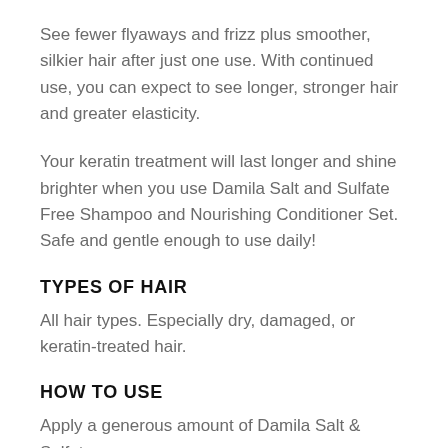See fewer flyaways and frizz plus smoother, silkier hair after just one use. With continued use, you can expect to see longer, stronger hair and greater elasticity.
Your keratin treatment will last longer and shine brighter when you use Damila Salt and Sulfate Free Shampoo and Nourishing Conditioner Set. Safe and gentle enough to use daily!
TYPES OF HAIR
All hair types. Especially dry, damaged, or keratin-treated hair.
HOW TO USE
Apply a generous amount of Damila Salt & Sulfate